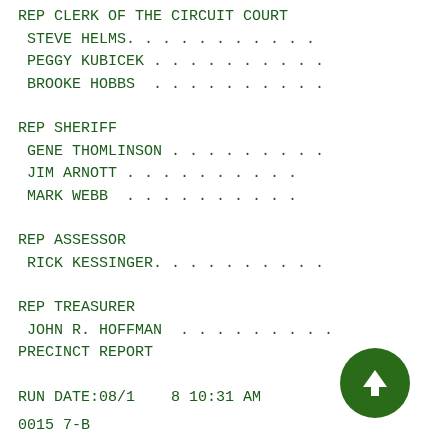REP CLERK OF THE CIRCUIT COURT
STEVE HELMS. . . . . . . . . . . .
PEGGY KUBICEK . . . . . . . . . . .
BROOKE HOBBS  . . . . . . . . . . .
REP SHERIFF
GENE THOMLINSON . . . . . . . . . .
JIM ARNOTT . . . . . . . . . . . .
MARK WEBB  . . . . . . . . . . . .
REP ASSESSOR
RICK KESSINGER. . . . . . . . . . .
REP TREASURER
JOHN R. HOFFMAN  . . . . . . . . .
PRECINCT REPORT
RUN DATE:08/1  8 10:31 AM
0015 7-B
[Figure (other): Green circular button with white upward arrow icon (navigation button overlay)]